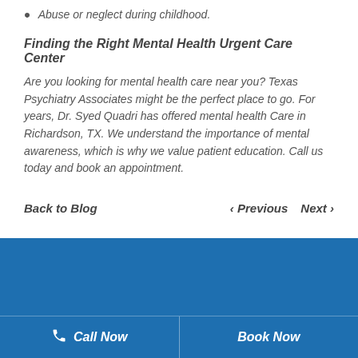Abuse or neglect during childhood.
Finding the Right Mental Health Urgent Care Center
Are you looking for mental health care near you? Texas Psychiatry Associates might be the perfect place to go. For years, Dr. Syed Quadri has offered mental health Care in Richardson, TX. We understand the importance of mental awareness, which is why we value patient education. Call us today and book an appointment.
Back to Blog
< Previous   Next >
Call Now
Book Now